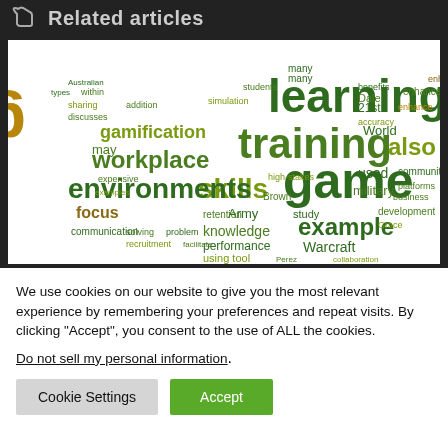Related articles
[Figure (infographic): Word cloud related to gamification and games-based learning, featuring words like learning, training, game, gamification, workplace, environments, skills, knowledge, military, example, Warcraft, etc. in various shades of green and olive.]
We use cookies on our website to give you the most relevant experience by remembering your preferences and repeat visits. By clicking “Accept”, you consent to the use of ALL the cookies.
Do not sell my personal information.
Cookie Settings   Accept